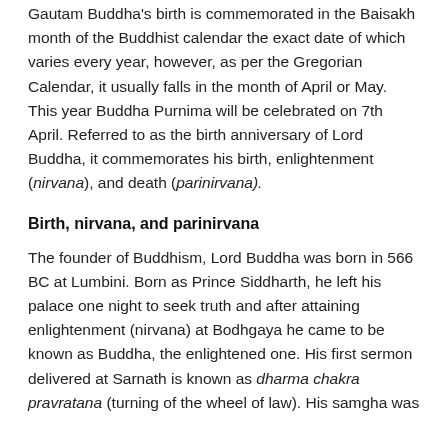Gautam Buddha's birth is commemorated in the Baisakh month of the Buddhist calendar the exact date of which varies every year, however, as per the Gregorian Calendar, it usually falls in the month of April or May. This year Buddha Purnima will be celebrated on 7th April. Referred to as the birth anniversary of Lord Buddha, it commemorates his birth, enlightenment (nirvana), and death (parinirvana).
Birth, nirvana, and parinirvana
The founder of Buddhism, Lord Buddha was born in 566 BC at Lumbini. Born as Prince Siddharth, he left his palace one night to seek truth and after attaining enlightenment (nirvana) at Bodhgaya he came to be known as Buddha, the enlightened one. His first sermon delivered at Sarnath is known as dharma chakra pravratana (turning of the wheel of law). His samgha was